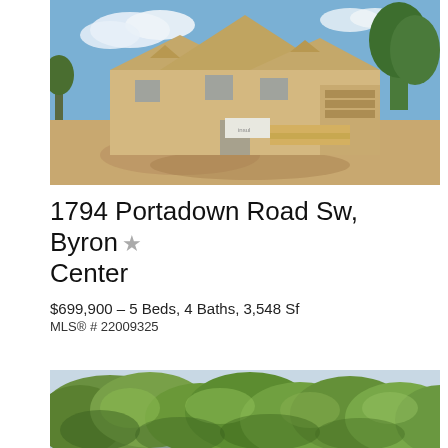[Figure (photo): House under construction showing wood-framed structure with OSB sheathing, multiple gable rooflines, and dirt lot in foreground under blue sky]
1794 Portadown Road Sw, Byron Center
$699,900 - 5 Beds, 4 Baths, 3,548 Sf
MLS® # 22009325
[Figure (photo): Partial view of a property exterior with green leafy trees and light blue sky visible]